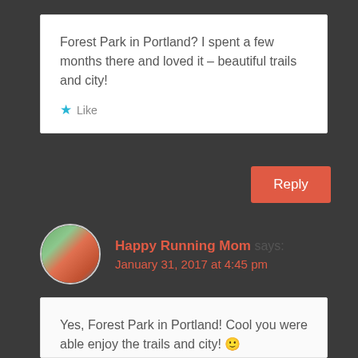Forest Park in Portland? I spent a few months there and loved it – beautiful trails and city!
★ Like
Reply
Happy Running Mom says:
January 31, 2017 at 4:45 pm
Yes, Forest Park in Portland! Cool you were able enjoy the trails and city! 🙂
★ Like